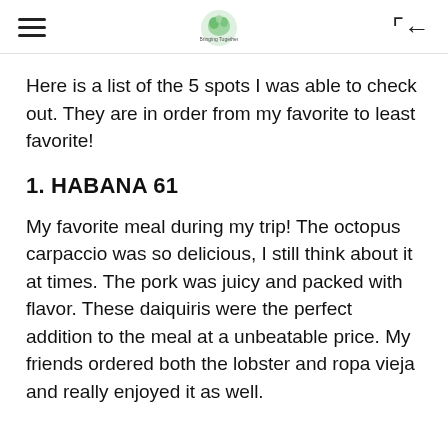[hamburger menu] [logo: Bringing Together] [back icon]
Here is a list of the 5 spots I was able to check out. They are in order from my favorite to least favorite!
1. HABANA 61
My favorite meal during my trip! The octopus carpaccio was so delicious, I still think about it at times. The pork was juicy and packed with flavor. These daiquiris were the perfect addition to the meal at a unbeatable price. My friends ordered both the lobster and ropa vieja and really enjoyed it as well.